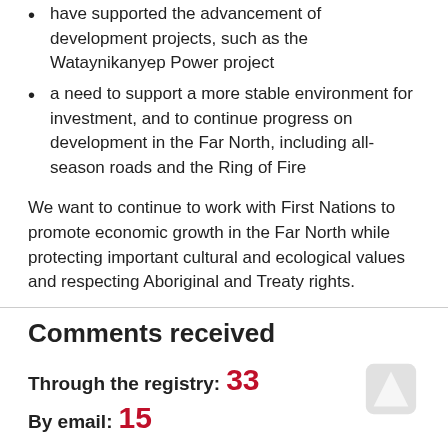have supported the advancement of development projects, such as the Wataynikanyep Power project
a need to support a more stable environment for investment, and to continue progress on development in the Far North, including all-season roads and the Ring of Fire
We want to continue to work with First Nations to promote economic growth in the Far North while protecting important cultural and ecological values and respecting Aboriginal and Treaty rights.
Comments received
Through the registry: 33
By email: 15